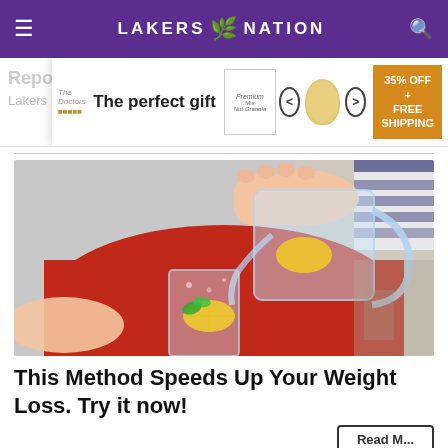LAKERS NATION
[Figure (photo): Advertisement banner: 'The perfect gift' with food product images, 35% OFF + FREE SHIPPING offer]
Repo... Lakers N...
[Figure (photo): Person in red sweater pouring water with lemon slices from a pitcher into a glass with lemon and mint]
This Method Speeds Up Your Weight Loss. Try it now!